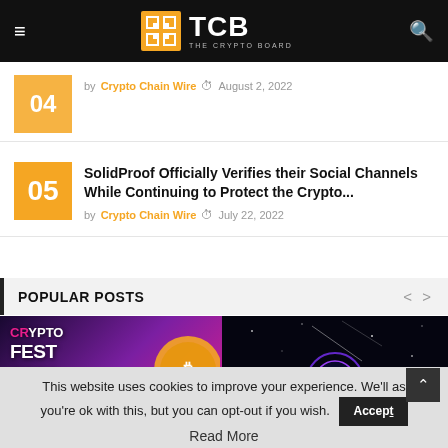TCB — The Crypto Board navigation header
by Crypto Chain Wire  August 2, 2022
SolidProof Officially Verifies their Social Channels While Continuing to Protect the Crypto...
by Crypto Chain Wire  July 22, 2022
POPULAR POSTS
[Figure (photo): Crypto Fest 2022 promotional image with pink/purple gradient background, large text CRYPTO FEST 2022, date October 14-30 2022, golden coins]
[Figure (photo): Dark space-themed image with a purple glowing circle/planet logo and partial blue text SERVERSE at bottom]
This website uses cookies to improve your experience. We'll as you're ok with this, but you can opt-out if you wish.
Read More